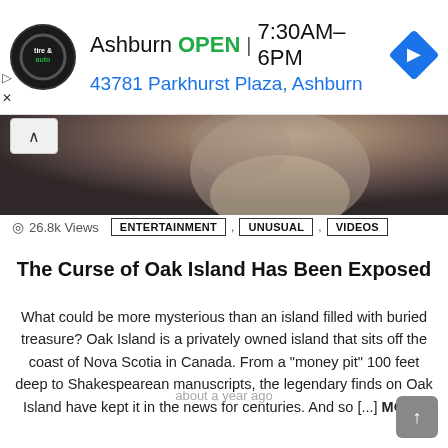[Figure (screenshot): Advertisement banner for a tire and auto shop in Ashburn. Shows logo, business name, open status, hours 7:30AM-6PM, address 43781 Parkhurst Plaza Ashburn, and a blue navigation arrow diamond icon.]
[Figure (photo): Partial photo showing an elderly man with white beard and gray hair, partially cut off at top.]
26.8k Views   ENTERTAINMENT , UNUSUAL , VIDEOS
The Curse of Oak Island Has Been Exposed
What could be more mysterious than an island filled with buried treasure? Oak Island is a privately owned island that sits off the coast of Nova Scotia in Canada. From a "money pit" 100 feet deep to Shakespearean manuscripts, the legendary finds on Oak Island have kept it in the news for centuries. And so [...] MORE
about a year ago